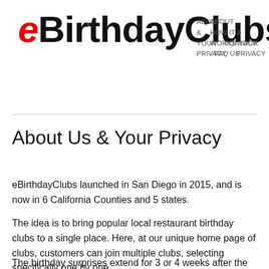eBirthdayClubs — ABOUT HOW IT WORKS - FAQ & YOUR PRIVACY CONTACT US
About Us & Your Privacy
eBirthdayClubs launched in San Diego in 2015, and is now in 6 California Counties and 5 states.
The idea is to bring popular local restaurant birthday clubs to a single place. Here, at our unique home page of clubs, customers can join multiple clubs, selecting specifically one by one.
The birthday surprises extend for 3 or 4 weeks after the